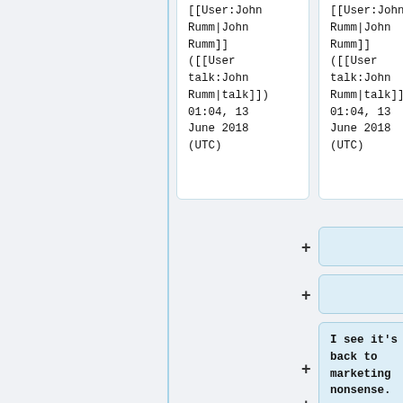[[User:John Rumm|John Rumm]] ([[User talk:John Rumm|talk]]) 01:04, 13 June 2018 (UTC)
[[User:John Rumm|John Rumm]] ([[User talk:John Rumm|talk]]) 01:04, 13 June 2018 (UTC)
(empty card)
(empty card)
I see it's back to marketing nonsense.
[[User:NT|NT]] ([[User talk:NT|talk]]) 09:50,